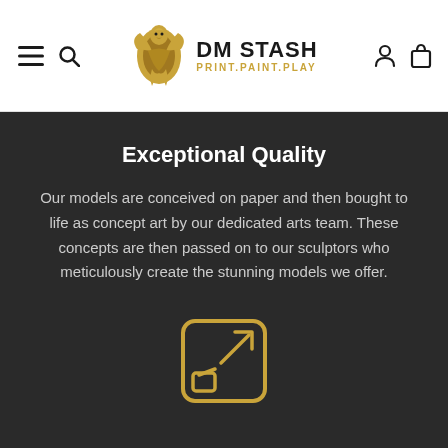DM STASH — PRINT.PAINT.PLAY
Exceptional Quality
Our models are conceived on paper and then bought to life as concept art by our dedicated arts team. These concepts are then passed on to our sculptors who meticulously create the stunning models we offer.
[Figure (illustration): A gold outlined icon showing a resize/scale symbol — a rounded square with arrows pointing diagonally inward and outward, and a smaller square in the bottom-left corner.]